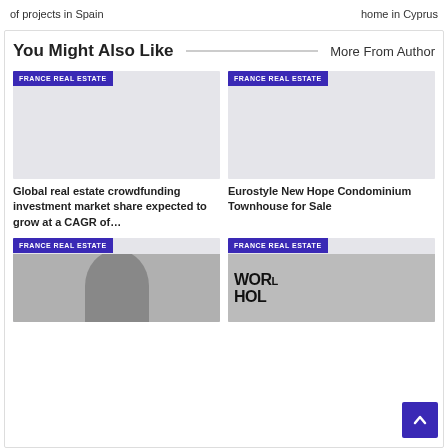of projects in Spain
home in Cyprus
You Might Also Like
More From Author
[Figure (photo): Grey placeholder image with FRANCE REAL ESTATE label]
Global real estate crowdfunding investment market share expected to grow at a CAGR of…
[Figure (photo): Grey placeholder image with FRANCE REAL ESTATE label]
Eurostyle New Hope Condominium Townhouse for Sale
[Figure (photo): Man's photo with FRANCE REAL ESTATE label]
[Figure (photo): World text sign photo with FRANCE REAL ESTATE label]